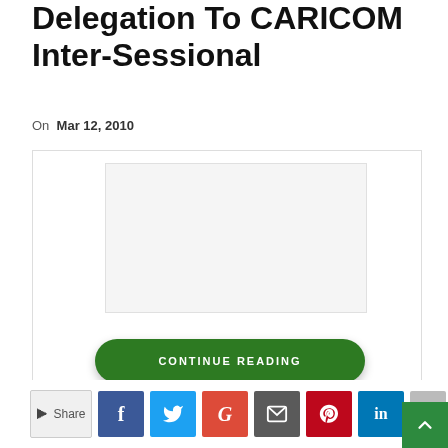Delegation To CARICOM Inter-Sessional
On Mar 12, 2010
[Figure (screenshot): Article preview box with a light grey inner content area and a green 'CONTINUE READING' button]
Share | Facebook | Twitter | Google | Email | Pinterest | LinkedIn | +